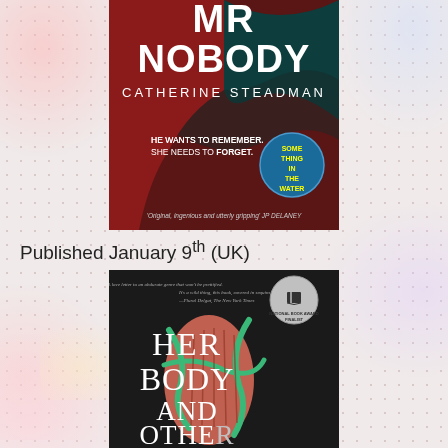[Figure (illustration): Book cover of 'Mr Nobody' by Catherine Steadman. Dark red and teal cover with text: 'HE WANTS TO REMEMBER. SHE NEEDS TO FORGET.' A circular badge reads 'SOMETHING IN THE WATER'. Bottom quote: 'Original, ingenious and utterly gripping' JP DELANEY.]
Published January 9th (UK)
[Figure (illustration): Book cover of 'Her Body and Other...' on a dark background with green ribbon-like vines and a red/pink corset or torso image. National Book Award Finalist badge. Quote at top from The New York Times.]